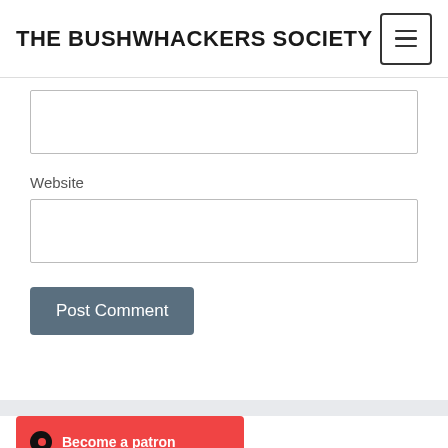THE BUSHWHACKERS SOCIETY
Website
Post Comment
[Figure (infographic): Patreon banner button with circle logo and text 'Become a patron']